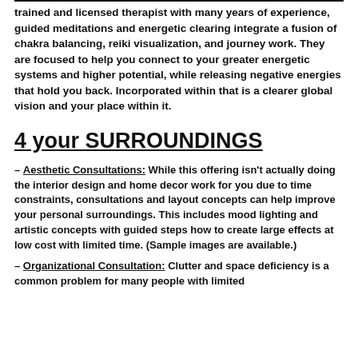trained and licensed therapist with many years of experience, guided meditations and energetic clearing integrate a fusion of chakra balancing, reiki visualization, and journey work. They are focused to help you connect to your greater energetic systems and higher potential, while releasing negative energies that hold you back. Incorporated within that is a clearer global vision and your place within it.
4 your SURROUNDINGS
– Aesthetic Consultations: While this offering isn't actually doing the interior design and home decor work for you due to time constraints, consultations and layout concepts can help improve your personal surroundings. This includes mood lighting and artistic concepts with guided steps how to create large effects at low cost with limited time. (Sample images are available.)
– Organizational Consultation: Clutter and space deficiency is a common problem for many people with limited